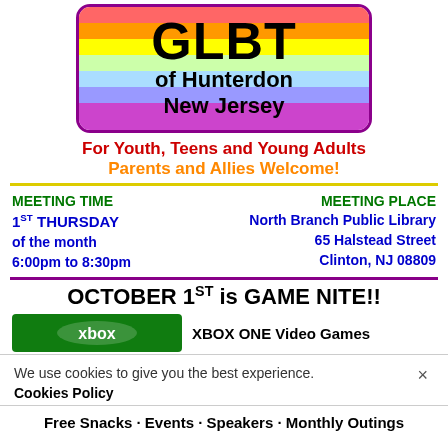[Figure (logo): Rainbow-colored box with GLBT of Hunterdon New Jersey text]
For Youth, Teens and Young Adults
Parents and Allies Welcome!
MEETING TIME
1ST THURSDAY
of the month
6:00pm to 8:30pm

MEETING PLACE
North Branch Public Library
65 Halstead Street
Clinton, NJ 08809
OCTOBER 1ST is GAME NITE!!
[Figure (logo): Xbox One green logo banner with XBOX ONE Video Games text]
We use cookies to give you the best experience.
Cookies Policy
Free Snacks · Events · Speakers · Monthly Outings